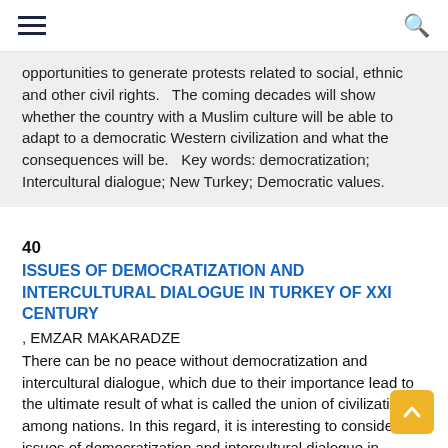≡  [search icon]
opportunities to generate protests related to social, ethnic and other civil rights.   The coming decades will show whether the country with a Muslim culture will be able to adapt to a democratic Western civilization and what the consequences will be.   Key words: democratization; Intercultural dialogue; New Turkey; Democratic values.
40
ISSUES OF DEMOCRATIZATION AND INTERCULTURAL DIALOGUE IN TURKEY OF XXI CENTURY
, EMZAR MAKARADZE
There can be no peace without democratization and intercultural dialogue, which due to their importance lead to the ultimate result of what is called the union of civilizations among nations. In this regard, it is interesting to consider the issues of democratization and intercultural dialogue in Turkey in XXI century. In order to reach a high level of democratic development,